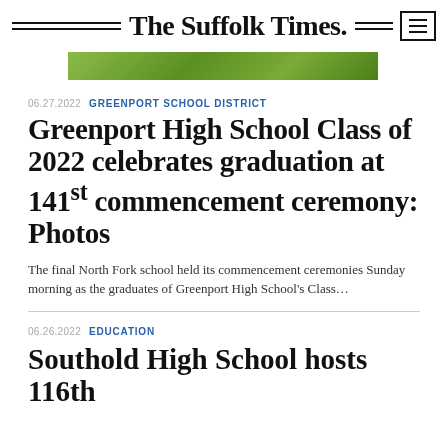The Suffolk Times.
[Figure (photo): Outdoor photo strip showing green grass/field, partial view of a graduation or outdoor event.]
06.27.2022 GREENPORT SCHOOL DISTRICT
Greenport High School Class of 2022 celebrates graduation at 141st commencement ceremony: Photos
The final North Fork school held its commencement ceremonies Sunday morning as the graduates of Greenport High School's Class...
06.26.2022 EDUCATION
Southold High School hosts 116th